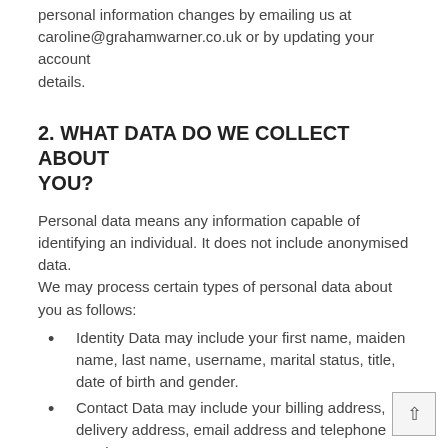personal information changes by emailing us at caroline@grahamwarner.co.uk or by updating your account details.
2. WHAT DATA DO WE COLLECT ABOUT YOU?
Personal data means any information capable of identifying an individual. It does not include anonymised data.
We may process certain types of personal data about you as follows:
Identity Data may include your first name, maiden name, last name, username, marital status, title, date of birth and gender.
Contact Data may include your billing address, delivery address, email address and telephone numbers.
Financial Data may include your bank account and payment card details.
Transaction Data may include details about payments between us and other details of purchases made by you.
Technical Data may include your login data, internet...